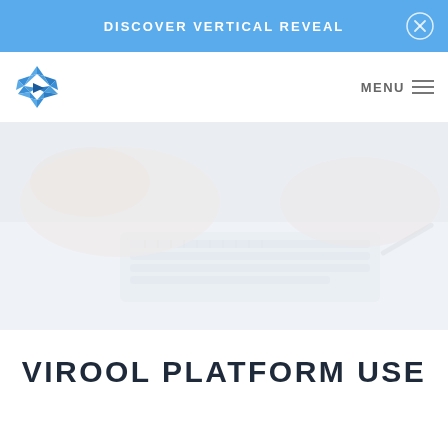DISCOVER VERTICAL REVEAL
[Figure (logo): Blue geometric diamond/play-button logo composed of triangular shards]
MENU ≡
[Figure (photo): Faded/washed out photo of hands typing on a white keyboard]
VIROOL PLATFORM USE